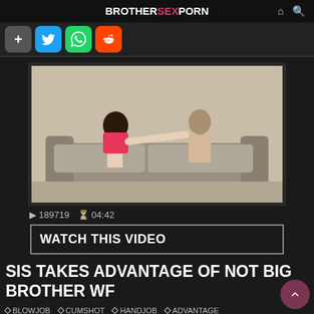BROTHERSEXPORN
[Figure (screenshot): Video thumbnail showing two people on a couch]
▷ 189719 ⏱ 04:42
WATCH THIS VIDEO
SIS TAKES ADVANTAGE OF NOT BIG BROTHER WF
◇ BLOWJOB   ◇ CUMSHOT   ◇ HANDJOB   ◇ ADVANTAGE